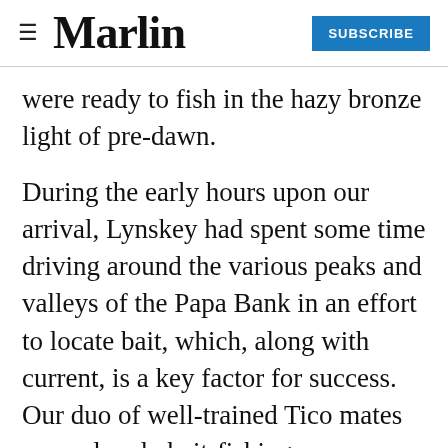Marlin | SUBSCRIBE
were ready to fish in the hazy bronze light of pre-dawn.
During the early hours upon our arrival, Lynskey had spent some time driving around the various peaks and valleys of the Papa Bank in an effort to locate bait, which, along with current, is a key factor for success. Our duo of well-trained Tico mates were already bait-fishing as we emerged from the salon, keeping just the smaller bonito and yellowfin tuna and releasing anything over about 15 inches or